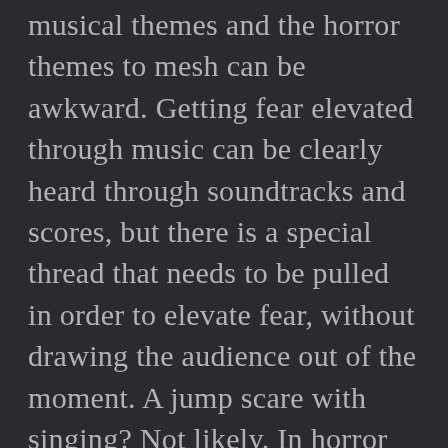musical themes and the horror themes to mesh can be awkward. Getting fear elevated through music can be clearly heard through soundtracks and scores, but there is a special thread that needs to be pulled in order to elevate fear, without drawing the audience out of the moment. A jump scare with singing? Not likely. In horror musicals, the songs are often the prelude to the violence and the malevolence and are not actually used during moments of terror. (Repo: The Genetic Opera